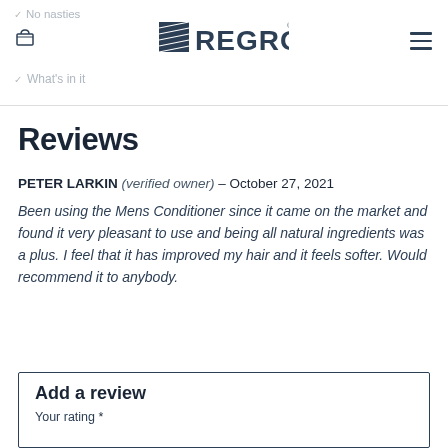No nasties  [basket icon]  REGROW  [menu icon]  What's in it
Reviews
PETER LARKIN (verified owner) – October 27, 2021
Been using the Mens Conditioner since it came on the market and found it very pleasant to use and being all natural ingredients was a plus. I feel that it has improved my hair and it feels softer. Would recommend it to anybody.
Add a review
Your rating *